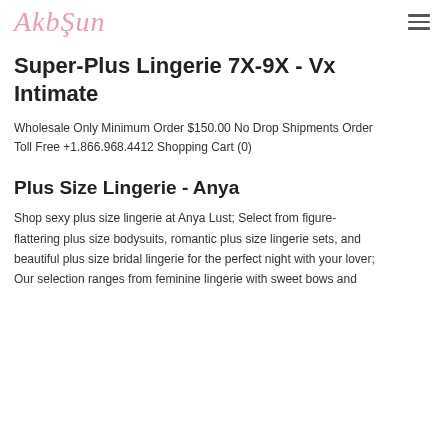AkbŞun
Super-Plus Lingerie 7X-9X - Vx Intimate
Wholesale Only Minimum Order $150.00 No Drop Shipments Order Toll Free +1.866.968.4412 Shopping Cart (0)
Plus Size Lingerie - Anya
Shop sexy plus size lingerie at Anya Lust; Select from figure-flattering plus size bodysuits, romantic plus size lingerie sets, and beautiful plus size bridal lingerie for the perfect night with your lover; Our selection ranges from feminine lingerie with sweet bows and